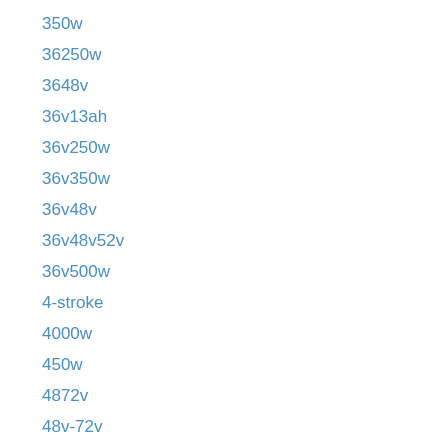350w
36250w
3648v
36v13ah
36v250w
36v350w
36v48v
36v48v52v
36v500w
4-stroke
4000w
450w
4872v
48v-72v
48v1000w